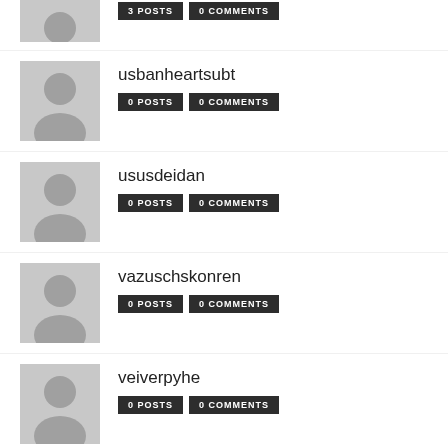(partial) 3POSTS 0COMMENTS
usbanheartsubt 0POSTS 0COMMENTS
ususdeidan 0POSTS 0COMMENTS
vazuschskonren 0POSTS 0COMMENTS
veiverpyhe 0POSTS 0COMMENTS
vijay@123 0POSTS 0COMMENTS